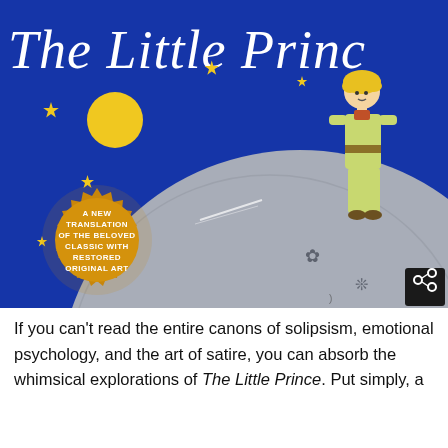[Figure (illustration): Book cover of 'The Little Prince' — dark blue background with stars, a yellow moon, the little prince standing on a grey asteroid/planet, and a gold seal badge reading 'A New Translation of the Beloved Classic with Restored Original Art'. A share button is in the bottom right corner of the image.]
If you can't read the entire canons of solipsism, emotional psychology, and the art of satire, you can absorb the whimsical explorations of The Little Prince. Put simply, a